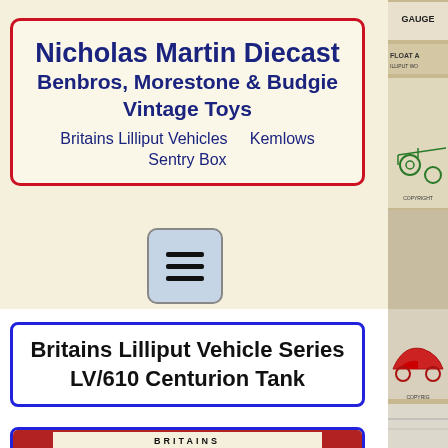Nicholas Martin Diecast Benbros, Morestone & Budgie Vintage Toys
Britains Lilliput Vehicles    Kemlows
Sentry Box
[Figure (other): Hamburger/menu icon button (three horizontal lines) with light blue-grey rounded square background]
Britains Lilliput Vehicle Series LV/610 Centurion Tank
[Figure (photo): Britains toy box with red lid labeled BRITAINS, containing a Centurion Tank model, partially visible]
[Figure (photo): Right side strip showing vintage toy box packaging with illustrations including a bicycle/vehicle, copyright text]